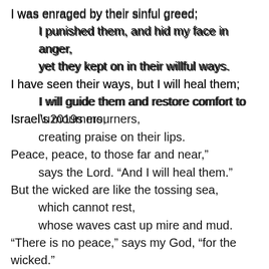I was enraged by their sinful greed;
I punished them, and hid my face in anger,
yet they kept on in their willful ways.
I have seen their ways, but I will heal them;
I will guide them and restore comfort to
Israel’s mourners,
creating praise on their lips.
Peace, peace, to those far and near,”
says the Lord. “And I will heal them.”
But the wicked are like the tossing sea,
which cannot rest,
whose waves cast up mire and mud.
“There is no peace,” says my God, “for the wicked.”